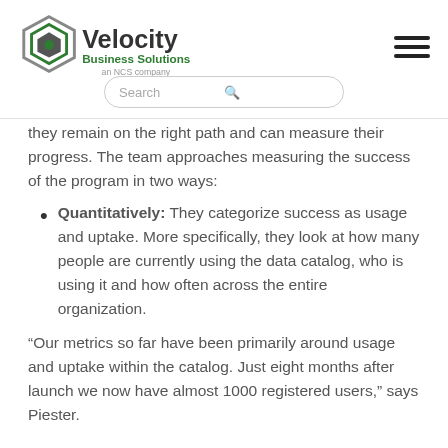Velocity Business Solutions — an NCS company
they remain on the right path and can measure their progress. The team approaches measuring the success of the program in two ways:
Quantitatively: They categorize success as usage and uptake. More specifically, they look at how many people are currently using the data catalog, who is using it and how often across the entire organization.
“Our metrics so far have been primarily around usage and uptake within the catalog. Just eight months after launch we now have almost 1000 registered users,” says Piester.